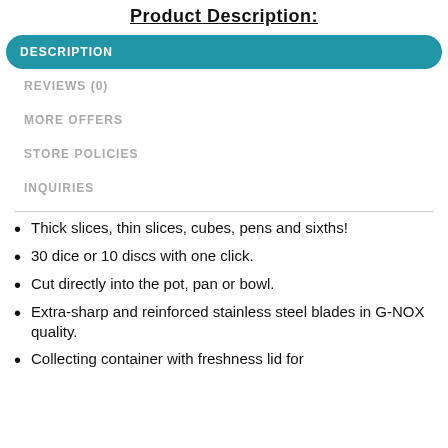Product Description:
DESCRIPTION
REVIEWS (0)
MORE OFFERS
STORE POLICIES
INQUIRIES
Thick slices, thin slices, cubes, pens and sixths!
30 dice or 10 discs with one click.
Cut directly into the pot, pan or bowl.
Extra-sharp and reinforced stainless steel blades in G-NOX quality.
Collecting container with freshness lid for